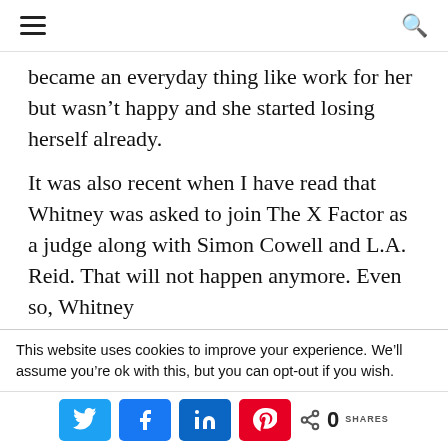[hamburger menu] [search icon]
became an everyday thing like work for her but wasn't happy and she started losing herself already.
It was also recent when I have read that Whitney was asked to join The X Factor as a judge along with Simon Cowell and L.A. Reid. That will not happen anymore. Even so, Whitney
This website uses cookies to improve your experience. We'll assume you're ok with this, but you can opt-out if you wish.
[Twitter share] [Facebook share] [LinkedIn share] [Pinterest share] < 0 SHARES